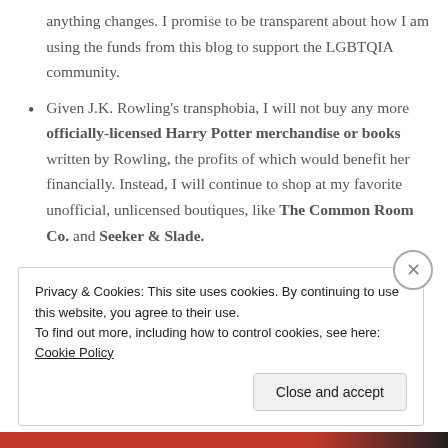anything changes. I promise to be transparent about how I am using the funds from this blog to support the LGBTQIA community.
Given J.K. Rowling's transphobia, I will not buy any more officially-licensed Harry Potter merchandise or books written by Rowling, the profits of which would benefit her financially. Instead, I will continue to shop at my favorite unofficial, unlicensed boutiques, like The Common Room Co. and Seeker & Slade.
On the Blog
Privacy & Cookies: This site uses cookies. By continuing to use this website, you agree to their use. To find out more, including how to control cookies, see here: Cookie Policy